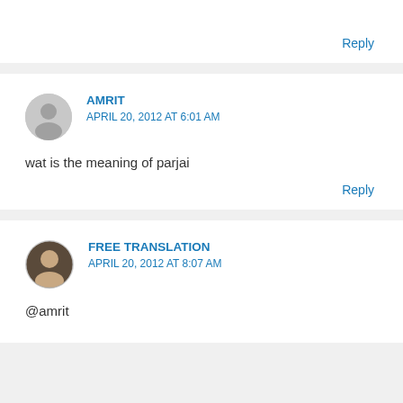Reply
AMRIT
APRIL 20, 2012 AT 6:01 AM
wat is the meaning of parjai
Reply
FREE TRANSLATION
APRIL 20, 2012 AT 8:07 AM
@amrit